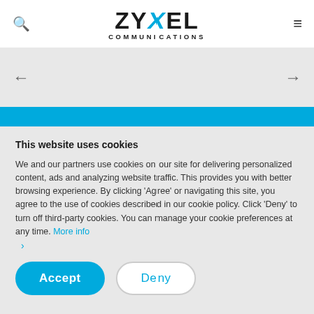ZYXEL COMMUNICATIONS
[Figure (screenshot): Navigation carousel area with left and right arrow buttons on a light gray background]
This website uses cookies
We and our partners use cookies on our site for delivering personalized content, ads and analyzing website traffic. This provides you with better browsing experience. By clicking 'Agree' or navigating this site, you agree to the use of cookies described in our cookie policy. Click 'Deny' to turn off third-party cookies. You can manage your cookie preferences at any time. More info
Accept  Deny